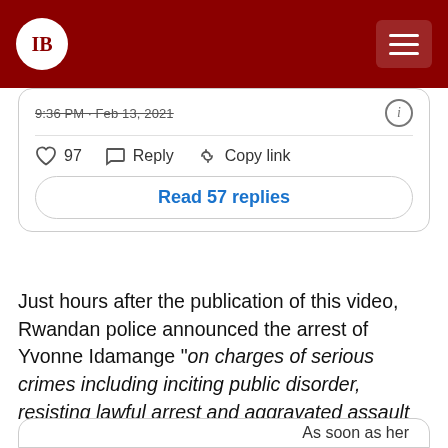IB [logo] | [hamburger menu]
9:36 PM · Feb 13, 2021
♡ 97   Reply   Copy link
Read 57 replies
Just hours after the publication of this video, Rwandan police announced the arrest of Yvonne Idamange "on charges of serious crimes including inciting public disorder, resisting lawful arrest and aggravated assault against a law enforcement officer.", The police is accusing her of injuring one of the police officers who came to arrest her by hitting him on the head with a bottle.
As soon as her